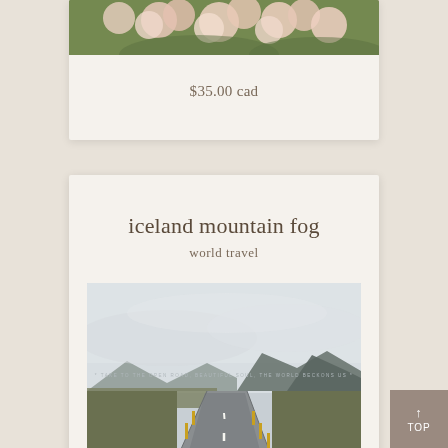[Figure (photo): Top portion of a product card showing flowers (pink/cream roses on green foliage) partially visible at top]
$35.00 cad
iceland mountain fog
world travel
[Figure (photo): Photograph of an empty road through Icelandic landscape with mountains in background under overcast sky, with yellow roadside markers]
$35.00 cad